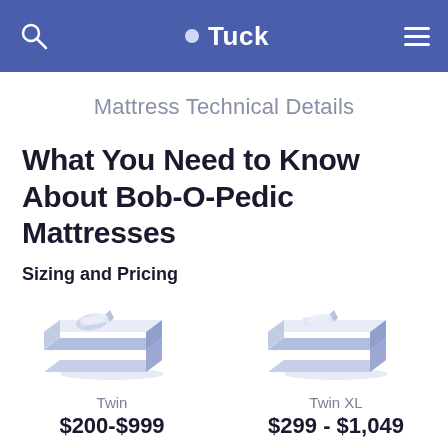Tuck
Mattress Technical Details
What You Need to Know About Bob-O-Pedic Mattresses
Sizing and Pricing
[Figure (illustration): Illustration of a Twin mattress (blue isometric bed icon)]
Twin
$200-$999
[Figure (illustration): Illustration of a Twin XL mattress (blue isometric bed icon)]
Twin XL
$299 - $1,049